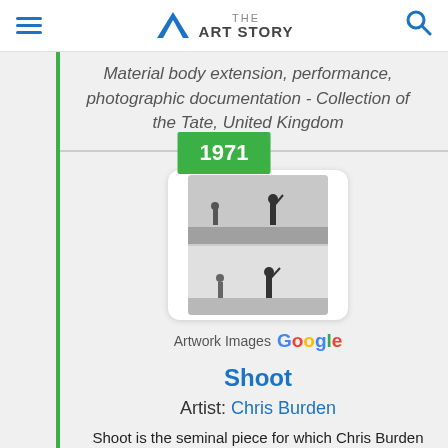THE ART STORY
Material body extension, performance, photographic documentation - Collection of the Tate, United Kingdom
1971
[Figure (photo): Two black and white performance still photographs stacked vertically, each showing two figures standing apart in a gallery space. Appears to be documentation of Chris Burden's 'Shoot' performance.]
Artwork Images G
Shoot
Artist: Chris Burden
Shoot is the seminal piece for which Chris Burden